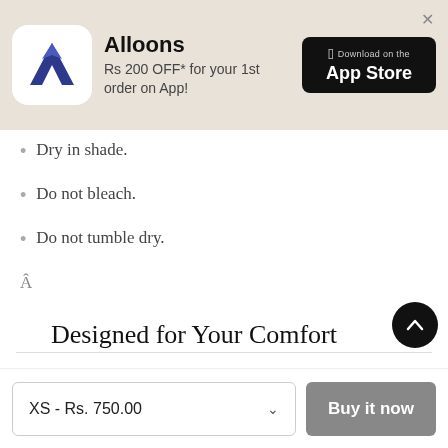[Figure (screenshot): Alloons app banner with logo, Rs 200 OFF promotion text, and Download on the App Store button]
Dry in shade.
Do not bleach.
Do not tumble dry.
Â
Designed for Your Comfort
XS - Rs. 750.00
Buy it now